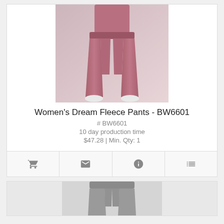[Figure (photo): Woman wearing pink/mauve fleece sweatpants with white sneakers, standing against a light gray background. Only the lower torso and legs are visible.]
Women's Dream Fleece Pants - BW6601
# BW6601
10 day production time
$47.28 | Min. Qty: 1
[Figure (photo): Partial view of a second product card showing gray/heather fleece pants, cut off at bottom of page.]